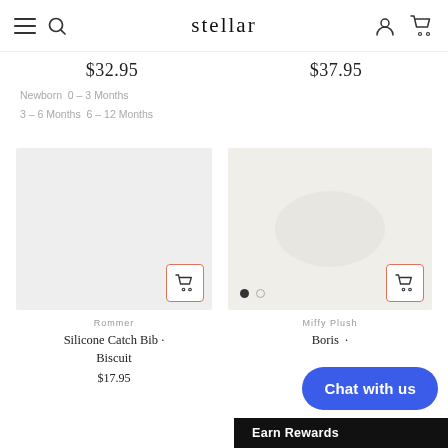stellar
$32.95   $37.95
Newborn 0 - 3 Months
3 - 6 Months  6 - 12 Months
[Figure (photo): Left product card: light gray product image placeholder with cart icon button (orange border). Below: brand 'Rommer', product name 'Silicone Catch Bib · Biscuit', price '$17.95']
[Figure (photo): Right product card: light beige product image placeholder with faint silhouette, carousel dots, and cart icon button (orange border). Below: brand 'Miffy Plush', product name 'Boris ·' (partially obscured by chat overlay)]
Chat with us
Earn Rewards